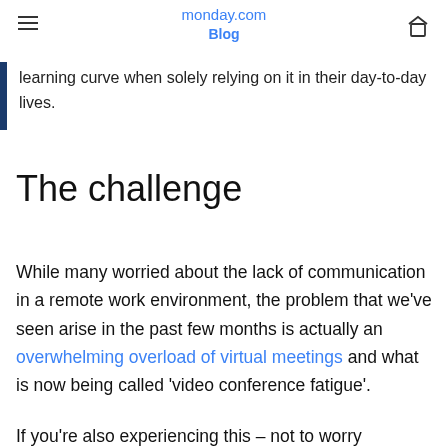monday.com Blog
learning curve when solely relying on it in their day-to-day lives.
The challenge
While many worried about the lack of communication in a remote work environment, the problem that we've seen arise in the past few months is actually an overwhelming overload of virtual meetings and what is now being called 'video conference fatigue'.
If you're also experiencing this – not to worry